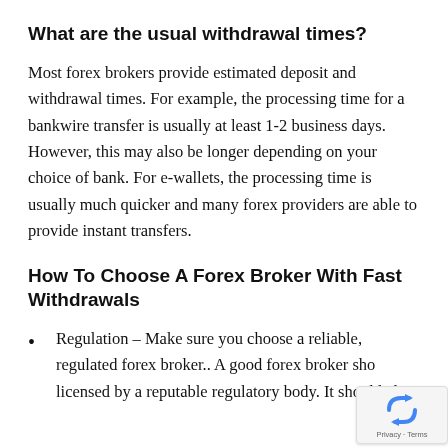What are the usual withdrawal times?
Most forex brokers provide estimated deposit and withdrawal times. For example, the processing time for a bankwire transfer is usually at least 1-2 business days. However, this may also be longer depending on your choice of bank. For e-wallets, the processing time is usually much quicker and many forex providers are able to provide instant transfers.
How To Choose A Forex Broker With Fast Withdrawals
Regulation – Make sure you choose a reliable, regulated forex broker.. A good forex broker shou licensed by a reputable regulatory body. It should also